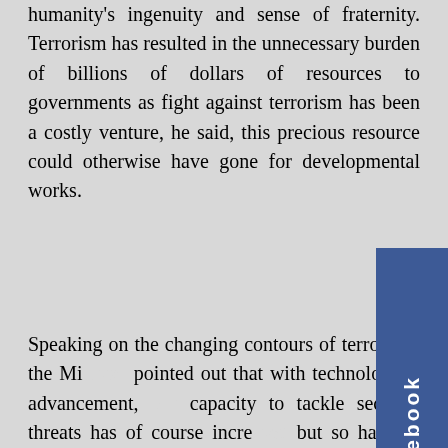humanity's ingenuity and sense of fraternity. Terrorism has resulted in the unnecessary burden of billions of dollars of resources to governments as fight against terrorism has been a costly venture, he said, this precious resource could otherwise have gone for developmental works.
Speaking on the changing contours of terrorism, the Minister pointed out that with technological advancement, our capacity to tackle security threats has of course increased but so has our vulnerability. In an age of cyberspace and internet exposure, he added, terrorists do have new ways and target points to victimize us and disrupt our lives.
Hon Minister underscored the need of stringent legislative framework to deter and disrupt all types of terrorist activities and added that such legislative measures should be complemented by proper counter-terrorism strategies and appropriate tools to detect incidence of radicalization
[Figure (other): Facebook social media tab/button on the right side of the page, blue background with 'facebook' text written vertically]